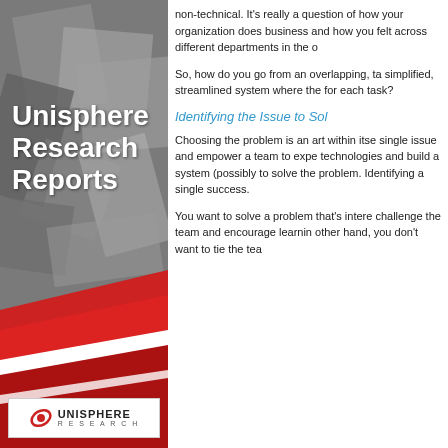[Figure (illustration): Left panel with Unisphere Research Reports branding — geometric gray background shapes, red and white diagonal stripes at bottom, white text title, and Unisphere Research logo at bottom]
non-technical. It's really a question of how your organization does business and how you felt across different departments in the o...
So, how do you go from an overlapping, ta... simplified, streamlined system where the... for each task?
Identifying the Issue to Sol...
Choosing the problem is an art within itse... single issue and empower a team to expe... technologies and build a system (possibly... to solve the problem. Identifying a single... success.
You want to solve a problem that's intere... challenge the team and encourage learnin... other hand, you don't want to tie the tea... will also assist is picked. It's OK fo...